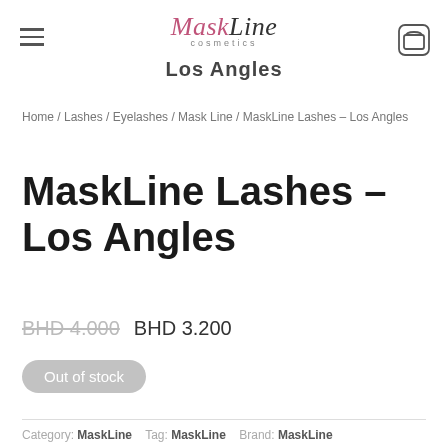MaskLine cosmetics — Los Angles
Home / Lashes / Eyelashes / Mask Line / MaskLine Lashes – Los Angles
MaskLine Lashes – Los Angles
BHD 4.000  BHD 3.200
Out of stock
Category: MaskLine   Tag: MaskLine   Brand: MaskLine